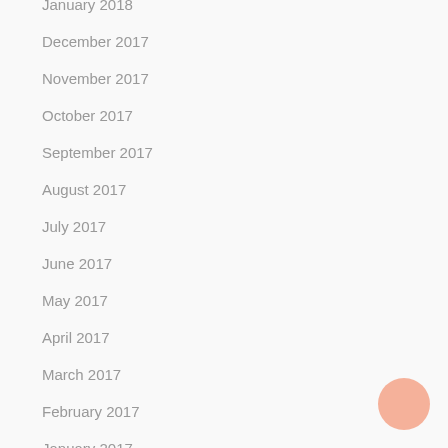January 2018
December 2017
November 2017
October 2017
September 2017
August 2017
July 2017
June 2017
May 2017
April 2017
March 2017
February 2017
January 2017
December 2016